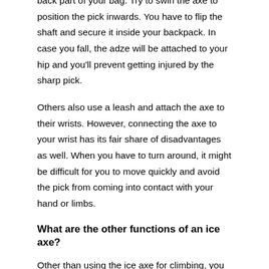back part of your bag. Try to swirl the axe to position the pick inwards. You have to flip the shaft and secure it inside your backpack. In case you fall, the adze will be attached to your hip and you'll prevent getting injured by the sharp pick.
Others also use a leash and attach the axe to their wrists. However, connecting the axe to your wrist has its fair share of disadvantages as well. When you have to turn around, it might be difficult for you to move quickly and avoid the pick from coming into contact with your hand or limbs.
What are the other functions of an ice axe?
Other than using the ice axe for climbing, you can also use it as a mode for a secure method of self-arrest during downhill slips. The slopes of an ice mountain have an enormous number of downhill slips that can cause you to tumble down and attain a dangerous injury.
The ice axe is a good alternative for straining yourself from